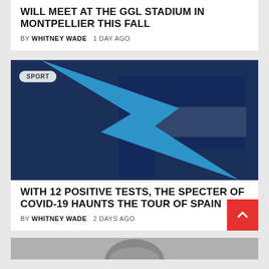WILL MEET AT THE GGL STADIUM IN MONTPELLIER THIS FALL
BY WHITNEY WADE   1 DAY AGO
[Figure (logo): Sports logo featuring a bold dark navy letter F with a blue lightning bolt or feather swoosh across it, on a dark navy background. SPORT badge in top left.]
WITH 12 POSITIVE TESTS, THE SPECTER OF COVID-19 HAUNTS THE TOUR OF SPAIN
BY WHITNEY WADE   2 DAYS AGO
[Figure (photo): Partial photo visible at the bottom of the page, showing the top of a person's head.]